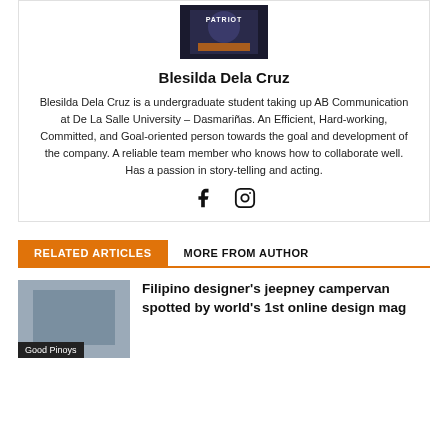[Figure (photo): Author profile photo with 'PATRIOT' text overlay]
Blesilda Dela Cruz
Blesilda Dela Cruz is a undergraduate student taking up AB Communication at De La Salle University – Dasmariñas. An Efficient, Hard-working, Committed, and Goal-oriented person towards the goal and development of the company. A reliable team member who knows how to collaborate well. Has a passion in story-telling and acting.
[Figure (illustration): Social media icons: Facebook and Instagram]
RELATED ARTICLES   MORE FROM AUTHOR
[Figure (photo): Article thumbnail image with 'Good Pinoys' badge]
Filipino designer's jeepney campervan spotted by world's 1st online design mag